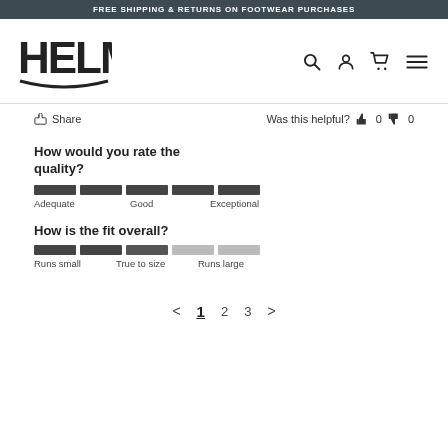FREE SHIPPING & RETURNS ON FOOTWEAR PURCHASES
[Figure (logo): HELM boot company logo in stylized bold font with decorative underline]
Share  Was this helpful? 👍 0 👎 0
How would you rate the quality?
[Figure (infographic): 5-segment rating bar for quality, all dark segments. Labels: Adequate, Good, Exceptional]
How is the fit overall?
[Figure (infographic): 5-segment rating bar for fit, 3 dark segments and 2 light segments. Labels: Runs small, True to size, Runs large]
< 1 2 3 >